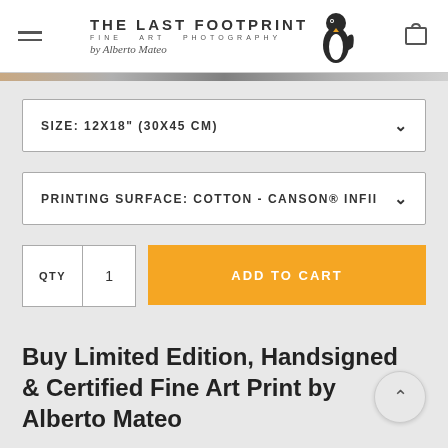THE LAST FOOTPRINT | FINE ART PHOTOGRAPHY | by Alberto Mateo
SIZE: 12X18" (30X45 CM)
PRINTING SURFACE: COTTON - CANSON® INFII
QTY  1  ADD TO CART
Buy Limited Edition, Handsigned & Certified Fine Art Print by Alberto Mateo